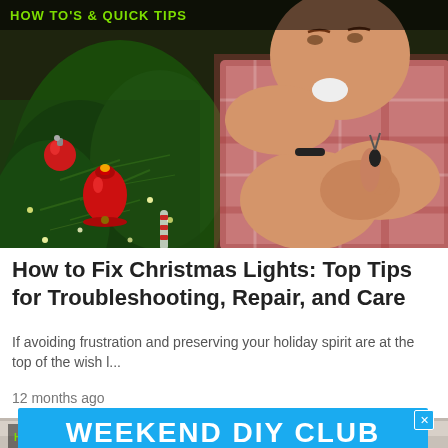HOW TO'S & QUICK TIPS
[Figure (photo): Man in plaid shirt resting chin on hand, examining a small Christmas light bulb, with a decorated Christmas tree in background showing red ornaments and fairy lights.]
How to Fix Christmas Lights: Top Tips for Troubleshooting, Repair, and Care
If avoiding frustration and preserving your holiday spirit are at the top of the wish l...
12 months ago
[Figure (photo): Partial view of a second article image showing hands holding colorful DIY craft items, with HOW TO'S label visible.]
[Figure (infographic): Blue advertisement banner reading WEEKEND DIY CLUB with a close (X) button in top right.]